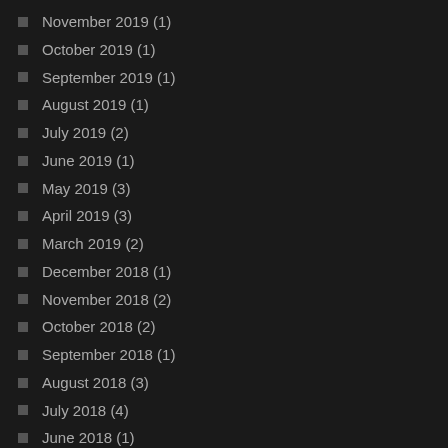November 2019 (1)
October 2019 (1)
September 2019 (1)
August 2019 (1)
July 2019 (2)
June 2019 (1)
May 2019 (3)
April 2019 (3)
March 2019 (2)
December 2018 (1)
November 2018 (2)
October 2018 (2)
September 2018 (1)
August 2018 (3)
July 2018 (4)
June 2018 (1)
May 2018 (2)
April 2018 (2)